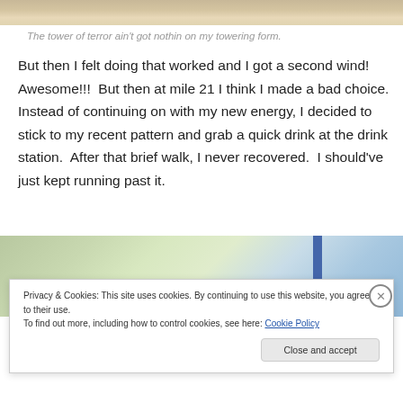[Figure (photo): Top portion of a photo showing a sandy/wooden surface, partially cropped]
The tower of terror ain't got nothin on my towering form.
But then I felt doing that worked and I got a second wind! Awesome!!!  But then at mile 21 I think I made a bad choice.  Instead of continuing on with my new energy, I decided to stick to my recent pattern and grab a quick drink at the drink station.  After that brief walk, I never recovered.  I should've just kept running past it.
[Figure (photo): Bottom portion of a photo showing trees, sky, and a blue arc structure]
Privacy & Cookies: This site uses cookies. By continuing to use this website, you agree to their use.
To find out more, including how to control cookies, see here: Cookie Policy
Close and accept